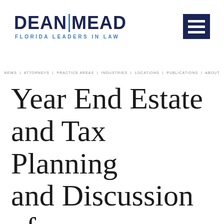[Figure (logo): Dean Mead law firm logo with text DEAN|MEAD and tagline FLORIDA LEADERS IN LAW]
[Figure (other): Navigation hamburger menu icon — dark navy square with three white horizontal bars]
NEWS | ATTORNEYS | PRACTICE AREAS | INDUSTRIES | LOCATIONS | PUBLICATIONS | ABOUT
Year End Estate and Tax Planning and Discussion of Anticipated Tax Policy Under President-Elect Obama